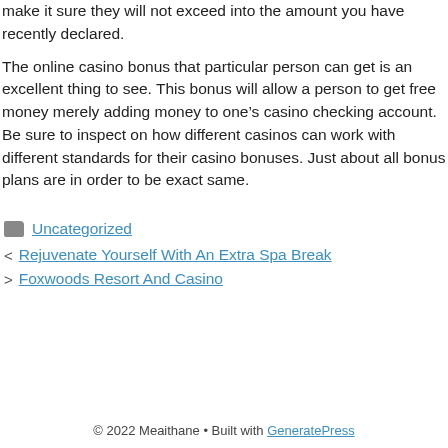make it sure they will not exceed into the amount you have recently declared.
The online casino bonus that particular person can get is an excellent thing to see. This bonus will allow a person to get free money merely adding money to one’s casino checking account. Be sure to inspect on how different casinos can work with different standards for their casino bonuses. Just about all bonus plans are in order to be exact same.
Uncategorized
Rejuvenate Yourself With An Extra Spa Break
Foxwoods Resort And Casino
© 2022 Meaithane • Built with GeneratePress